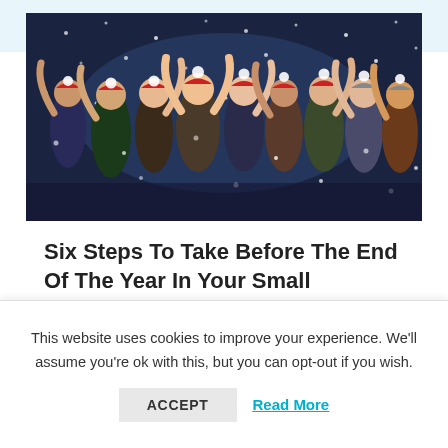[Figure (photo): Group of young people wearing Santa hats celebrating at a Christmas party with hands raised, confetti/snow falling, dark festive background]
Six Steps To Take Before The End Of The Year In Your Small Business
This website uses cookies to improve your experience. We'll assume you're ok with this, but you can opt-out if you wish.
ACCEPT   Read More